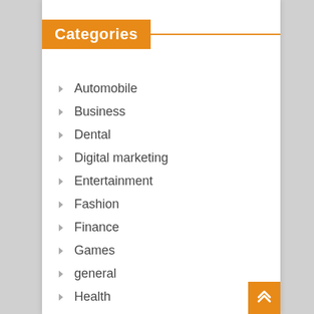Categories
Automobile
Business
Dental
Digital marketing
Entertainment
Fashion
Finance
Games
general
Health
Home